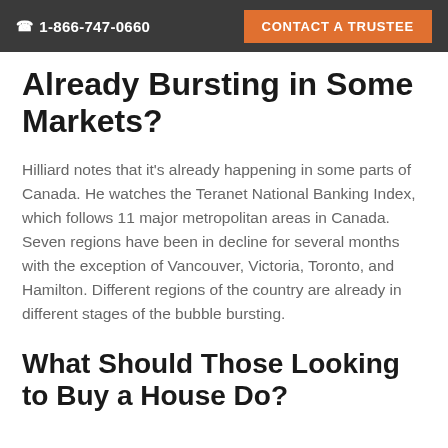☎ 1-866-747-0660   CONTACT A TRUSTEE
Already Bursting in Some Markets?
Hilliard notes that it's already happening in some parts of Canada. He watches the Teranet National Banking Index, which follows 11 major metropolitan areas in Canada. Seven regions have been in decline for several months with the exception of Vancouver, Victoria, Toronto, and Hamilton. Different regions of the country are already in different stages of the bubble bursting.
What Should Those Looking to Buy a House Do?